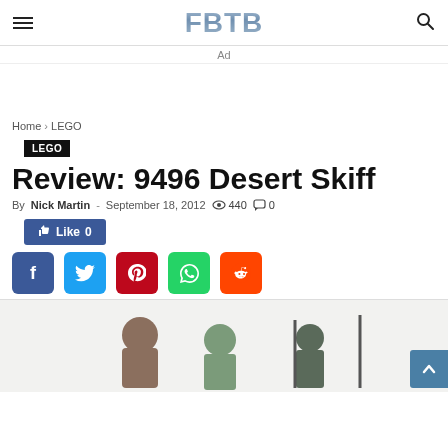FBTB
Ad
Home › LEGO
LEGO
Review: 9496 Desert Skiff
By Nick Martin - September 18, 2012  440  0
Like 0
[Figure (other): Social sharing buttons: Facebook, Twitter, Pinterest, WhatsApp, Reddit]
[Figure (photo): Partial photo of LEGO Desert Skiff minifigures on a light background]